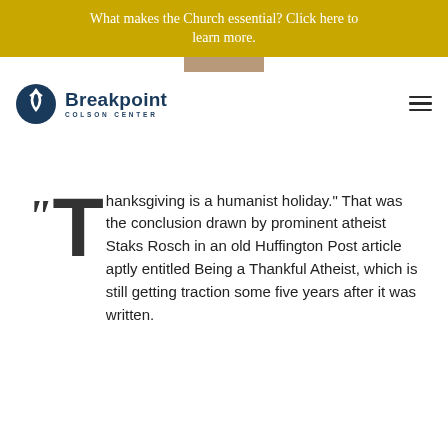What makes the Church essential? Click here to learn more.
[Figure (photo): Partial photo strip at top of page, cropped portrait image]
[Figure (logo): Breakpoint Colson Center logo with circular icon and text]
"Thanksgiving is a humanist holiday." That was the conclusion drawn by prominent atheist Staks Rosch in an old Huffington Post article aptly entitled Being a Thankful Atheist, which is still getting traction some five years after it was written.